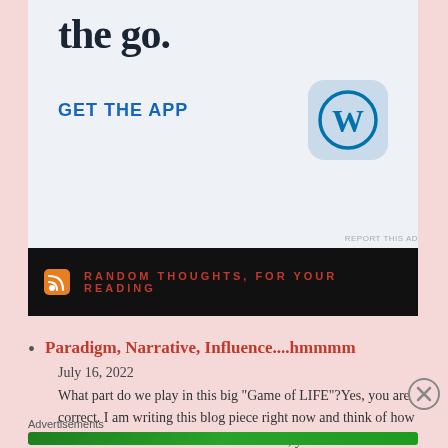[Figure (screenshot): WordPress app advertisement banner showing 'the go.' text, 'GET THE APP' link in blue, and WordPress logo icon]
RANDOM THOUGHTS, FOR YOUR READING
Paradigm, Narrative, Influence....hmmmm
July 16, 2022
What part do we play in this big "Game of LIFE"?Yes, you are correct. I am writing this blog piece right now and think of how we are all affected or effected or infected, you can
Advertisements
[Figure (screenshot): Jetpack advertisement banner with green background showing Jetpack logo and 'Back up your site' button]